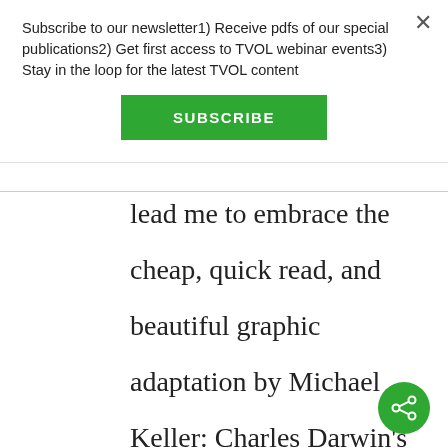Subscribe to our newsletter1) Receive pdfs of our special publications2) Get first access to TVOL webinar events3) Stay in the loop for the latest TVOL content
SUBSCRIBE
lead me to embrace the cheap, quick read, and beautiful graphic adaptation by Michael Keller: Charles Darwin's On the Origin of Species: A Graphic Adaptation